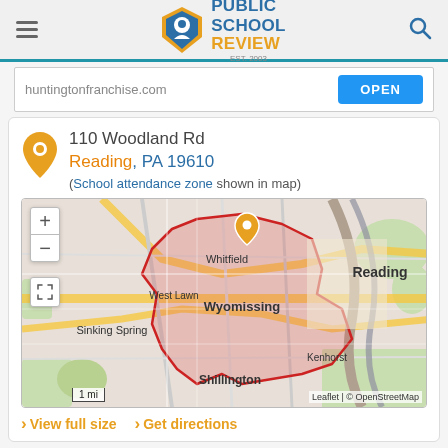[Figure (logo): Public School Review logo with shield icon, EST. 2003]
huntingtonfranchise.com  OPEN
110 Woodland Rd
Reading, PA 19610
(School attendance zone shown in map)
[Figure (map): Interactive map showing school attendance zone around Wyomissing, Reading PA area with red boundary overlay. Nearby locations labeled: Whitfield, West Lawn, Sinking Spring, Wyomissing, Reading, Kenhorst, Shillington. Orange location pin marker visible. Scale: 1 mi. Leaflet | © OpenStreetMap]
View full size   Get directions